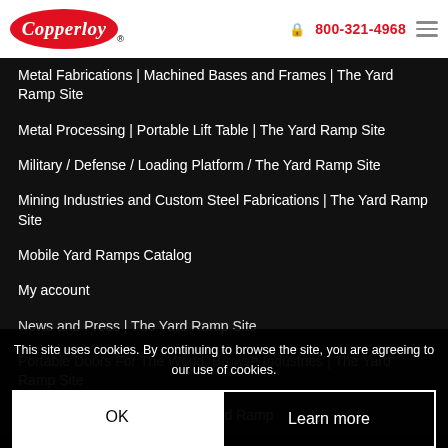Copperloy | 800-321-4968
Metal Fabrications | Machined Bases and Frames | The Yard Ramp Site
Metal Processing | Portable Lift Table | The Yard Ramp Site
Military / Defense / Loading Platform / The Yard Ramp Site
Mining Industries and Custom Steel Fabrications | The Yard Ramp Site
Mobile Yard Ramps Catalog
My account
News and Press | The Yard Ramp Site
Portable Doors For The Wood, Browse Industries | The Yard Ramp Site
Portable Steel Portable Loading Dock Yard Ramp
This site uses cookies. By continuing to browse the site, you are agreeing to our use of cookies.